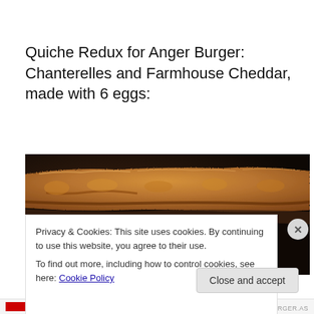Quiche Redux for Anger Burger: Chanterelles and Farmhouse Cheddar, made with 6 eggs:
[Figure (photo): Close-up photo of a golden-brown baked quiche crust, shot against a dark background. The flaky, textured pastry edge is prominently visible.]
Privacy & Cookies: This site uses cookies. By continuing to use this website, you agree to their use.
To find out more, including how to control cookies, see here: Cookie Policy